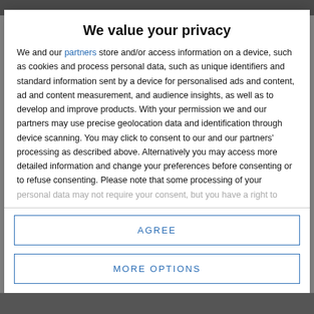[website header bar]
We value your privacy
We and our partners store and/or access information on a device, such as cookies and process personal data, such as unique identifiers and standard information sent by a device for personalised ads and content, ad and content measurement, and audience insights, as well as to develop and improve products. With your permission we and our partners may use precise geolocation data and identification through device scanning. You may click to consent to our and our partners' processing as described above. Alternatively you may access more detailed information and change your preferences before consenting or to refuse consenting. Please note that some processing of your personal data may not require your consent, but you have a right to
AGREE
MORE OPTIONS
[website footer bar]